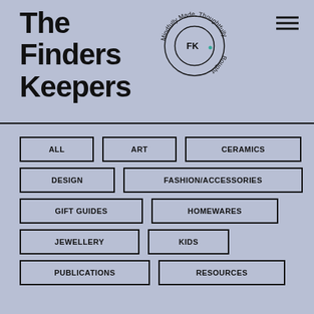The Finders Keepers
[Figure (logo): Circular logo with text 'Mindfully Made, Thoughtfully Bought' around a circle containing the letters FK with a plus/crosshair symbol]
ALL
ART
CERAMICS
DESIGN
FASHION/ACCESSORIES
GIFT GUIDES
HOMEWARES
JEWELLERY
KIDS
PUBLICATIONS
RESOURCES